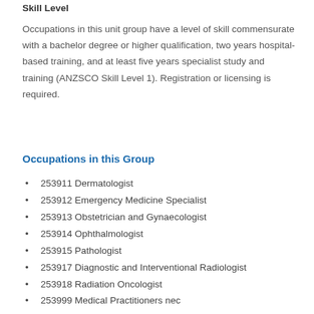Skill Level
Occupations in this unit group have a level of skill commensurate with a bachelor degree or higher qualification, two years hospital-based training, and at least five years specialist study and training (ANZSCO Skill Level 1). Registration or licensing is required.
Occupations in this Group
253911 Dermatologist
253912 Emergency Medicine Specialist
253913 Obstetrician and Gynaecologist
253914 Ophthalmologist
253915 Pathologist
253917 Diagnostic and Interventional Radiologist
253918 Radiation Oncologist
253999 Medical Practitioners nec